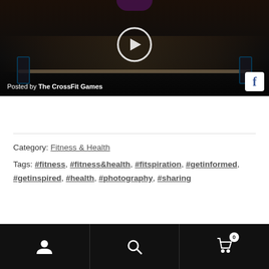[Figure (screenshot): Video thumbnail showing a person lifting a barbell in a dark gym setting, with a circular play button overlay. Text at bottom left reads 'Posted by The CrossFit Games'. Facebook icon at bottom right.]
Category: Fitness & Health
Tags: #fitness, #fitness&health, #fitspiration, #getinformed, #getinspired, #health, #photography, #sharing
[Figure (infographic): Black bottom navigation bar with three icons: user/person icon, search/magnifying glass icon, and shopping cart icon with badge showing '0'.]